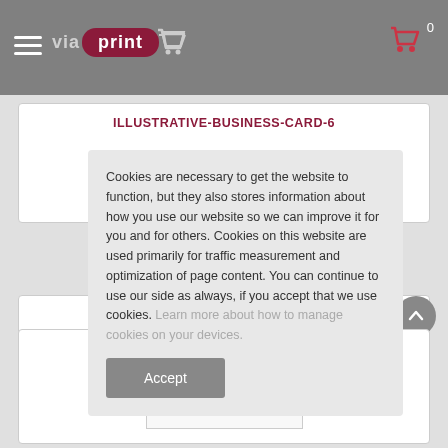via print — navigation header with cart icon showing 0 items
ILLUSTRATIVE-BUSINESS-CARD-6
Cookies are necessary to get the website to function, but they also stores information about how you use our website so we can improve it for you and for others. Cookies on this website are used primarily for traffic measurement and optimization of page content. You can continue to use our side as always, if you accept that we use cookies. Learn more about how to manage cookies on your devices.
Accept
ILLUSTRATIVE-BUSINESS-CARD-4